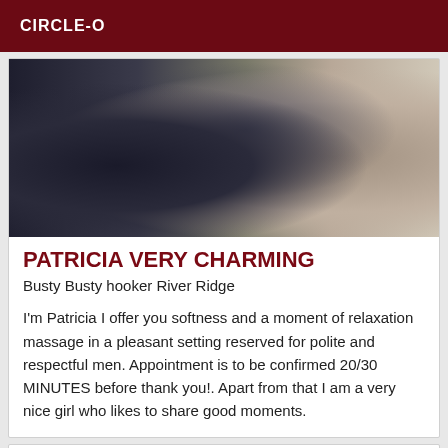CIRCLE-O
[Figure (photo): Photo of a person in dark clothing, partial body view, mirror or window in background]
PATRICIA VERY CHARMING
Busty Busty hooker River Ridge
I'm Patricia I offer you softness and a moment of relaxation massage in a pleasant setting reserved for polite and respectful men. Appointment is to be confirmed 20/30 MINUTES before thank you!. Apart from that I am a very nice girl who likes to share good moments.